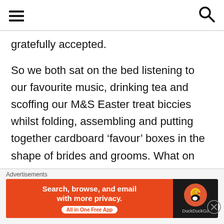[hamburger menu icon] [search icon]
gratefully accepted.
So we both sat on the bed listening to our favourite music, drinking tea and scoffing our M&S Easter treat biccies whilst folding, assembling and putting together cardboard ‘favour’ boxes in the shape of brides and grooms. What on earth I was thinking when I ordered them, I have no idea. Yes, they were dirt cheap
[Figure (screenshot): DuckDuckGo advertisement banner: orange section with text 'Search, browse, and email with more privacy. All in One Free App' and dark section with DuckDuckGo logo and name. Preceded by 'Advertisements' label.]